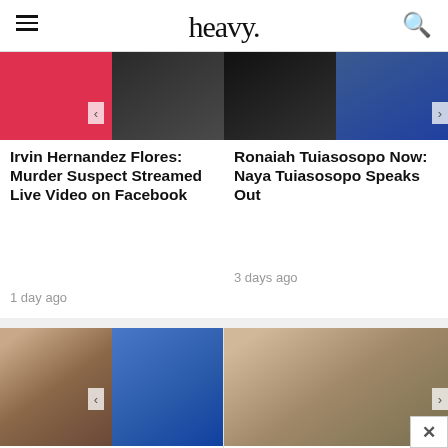heavy.
[Figure (photo): Two thumbnail images: pink/red background and man in military uniform]
Irvin Hernandez Flores: Murder Suspect Streamed Live Video on Facebook
1 day ago
[Figure (photo): Two thumbnail images: dark background portrait and person in blue]
Ronaiah Tuiasosopo Now: Naya Tuiasosopo Speaks Out
3 days ago
[Figure (photo): Woman with dark hair and man in blue shirt throwing]
Diane O'Meara Now: Woman in Lennay Kekua…
[Figure (photo): Man in blue shirt, close-up portrait]
Lennay Kekua Real Name: Who Was Manti Te'o's…